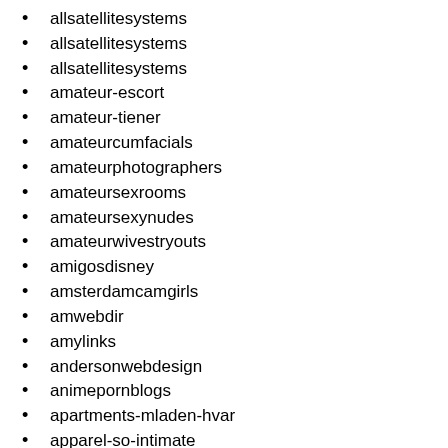allsatellitesystems
allsatellitesystems
allsatellitesystems
amateur-escort
amateur-tiener
amateurcumfacials
amateurphotographers
amateursexrooms
amateursexynudes
amateurwivestryouts
amigosdisney
amsterdamcamgirls
amwebdir
amylinks
andersonwebdesign
animepornblogs
apartments-mladen-hvar
apparel-so-intimate
apparel-so-intimate
aqua-escorts
aquacruise
aquariumsource
art-catalogue
art-catalogue
artoferotica